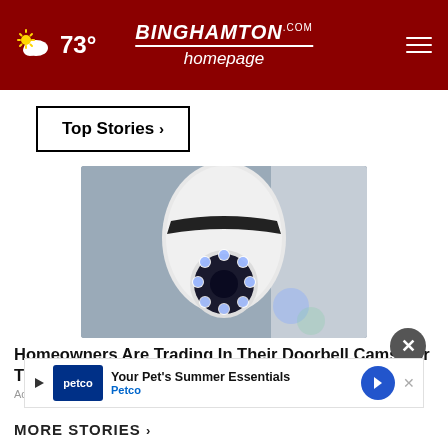☁ 73° | BinghamtonHomepage.com
Top Stories ›
[Figure (photo): A white smart security camera with blue LED ring light, photographed from below against a gray wall background.]
Homeowners Are Trading In Their Doorbell Cams For This - Now 50% Off
Ad by Camera
[Figure (infographic): Petco advertisement banner: 'Your Pet's Summer Essentials' with Petco logo and navigation arrow icon.]
MORE STORIES ›